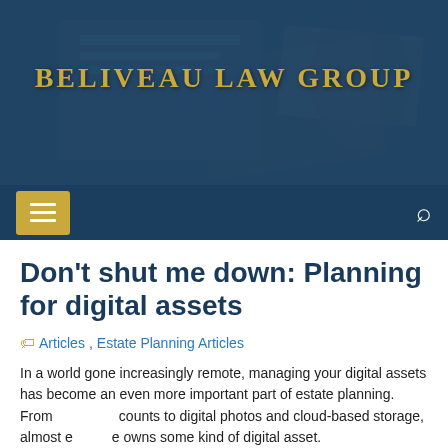BELIVEAU LAW GROUP
Don’t shut me down: Planning for digital assets
Articles, Estate Planning Articles
In a world gone increasingly remote, managing your digital assets has become an even more important part of estate planning. From e-accounts to digital photos and cloud-based storage, almost everyone owns some kind of digital asset.
Terms of service agreements and privacy policies govern these